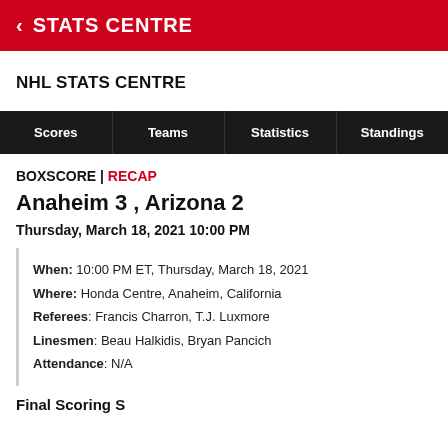STATS CENTRE
NHL STATS CENTRE
| Scores | Teams | Statistics | Standings |
| --- | --- | --- | --- |
BOXSCORE | RECAP
Anaheim 3, Arizona 2
Thursday, March 18, 2021 10:00 PM
When: 10:00 PM ET, Thursday, March 18, 2021
Where: Honda Centre, Anaheim, California
Referees: Francis Charron, T.J. Luxmore
Linesmen: Beau Halkidis, Bryan Pancich
Attendance: N/A
Final Scoring S...